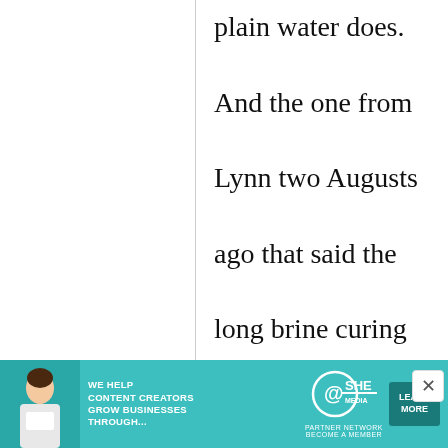plain water does. And the one from Lynn two Augusts ago that said the long brine curing seemed to solve her mold problems so she ate them anyway, wonderful! My family have all chimed in ("What the heck are you
[Figure (photo): Advertisement banner: teal background with woman photo, SHE Partner Network logo, text 'We help content creators grow businesses through...', and 'Learn More' button]